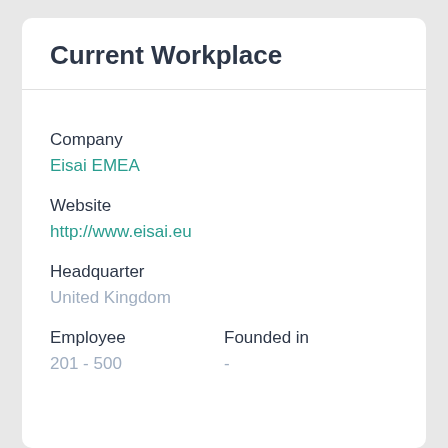Current Workplace
Company
Eisai EMEA
Website
http://www.eisai.eu
Headquarter
United Kingdom
Employee
Founded in
201 - 500
-